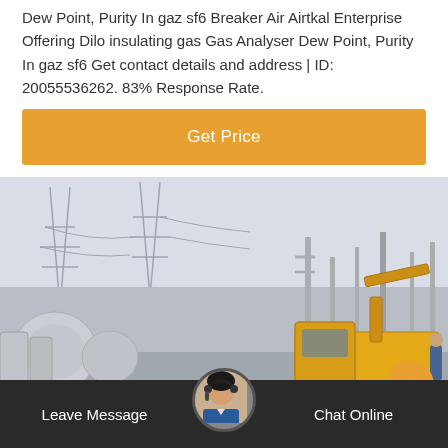Dew Point, Purity In gaz sf6 Breaker Air Airtkal Enterprise Offering Dilo insulating gas Gas Analyser Dew Point, Purity In gaz sf6 Get contact details and address | ID: 20055536262. 83% Response Rate.
Get Price
[Figure (photo): Outdoor industrial/electrical substation scene with high-voltage power lines, transformers, and a yellow utility truck in the foreground. Workers visible near truck.]
Leave Message   Chat Online